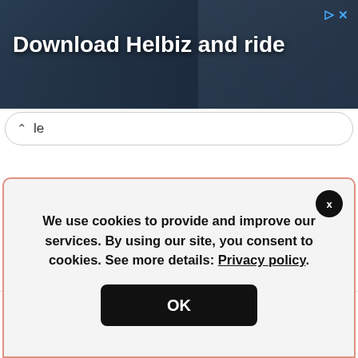[Figure (screenshot): Ad banner with dark background showing 'Download Helbiz and ride' text with close/ad icons top right]
le
Be the first to comment.
✉ Subscribe   ⊙ Add Disqus   ⚠ Do Not Sell My Data   DISQUS
We use cookies to provide and improve our services. By using our site, you consent to cookies. See more details: Privacy policy.
OK